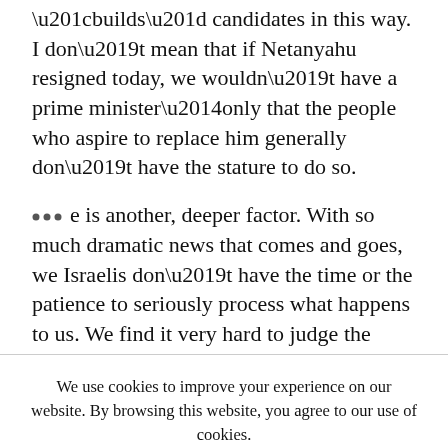“builds” candidates in this way. I don’t mean that if Netanyahu resigned today, we wouldn’t have a prime minister—only that the people who aspire to replace him generally don’t have the stature to do so.
… e is another, deeper factor. With so much dramatic news that comes and goes, we Israelis don’t have the time or the patience to seriously process what happens to us. We find it very hard to judge the long-term consequences of any event. There is, for
We use cookies to improve your experience on our website. By browsing this website, you agree to our use of cookies.
ACCEPT